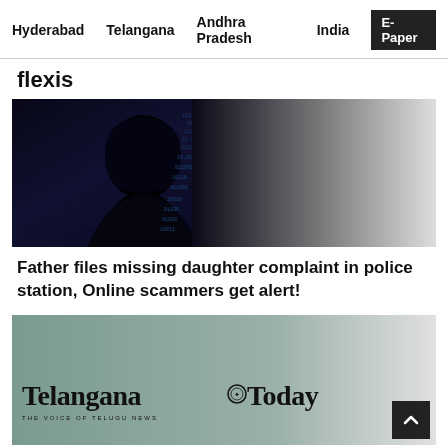Hyderabad   Telangana   Andhra Pradesh   India   E-Paper
flexis
[Figure (photo): Dark silhouette of a hooded figure (hacker) against a background with binary code/digital data, fading to grey on the right side]
Father files missing daughter complaint in police station, Online scammers get alert!
[Figure (logo): Telangana Today newspaper logo on a muted green-grey background, fading to light grey on the right]